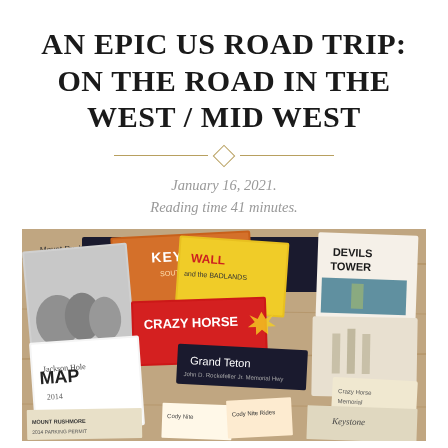AN EPIC US ROAD TRIP: ON THE ROAD IN THE WEST / MID WEST
January 16, 2021.
Reading time 41 minutes.
[Figure (photo): A collection of travel brochures, maps, and pamphlets spread on a wooden table, including materials for Mount Rushmore, Keystone South Dakota, Crazy Horse, Wall and the Badlands, Grand Teton, Devils Tower, Jackson Hole Map, and other US West/Midwest attractions.]